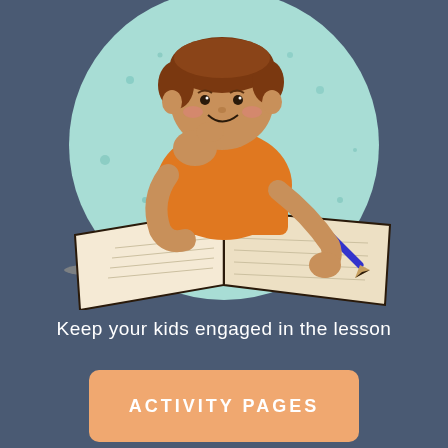[Figure (illustration): Cartoon illustration of a child with brown hair wearing an orange shirt, leaning on one hand pensively while writing in an open book with a blue pencil. Set against a light teal/mint circular background on a dark slate-blue page background.]
Keep your kids engaged in the lesson
ACTIVITY PAGES